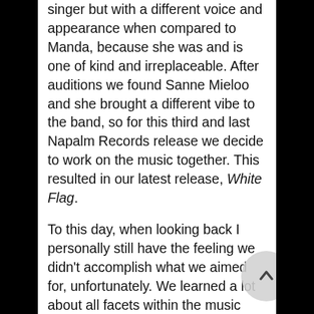singer but with a different voice and appearance when compared to Manda, because she was and is one of kind and irreplaceable. After auditions we found Sanne Mieloo and she brought a different vibe to the band, so for this third and last Napalm Records release we decide to work on the music together. This resulted in our latest release, White Flag.
To this day, when looking back I personally still have the feeling we didn't accomplish what we aimed for, unfortunately. We learned a lot about all facets within the music industry, on a musical level, running a 'business' etc. When being realistic, tour lives are totally different from when we started the band; everybody has to stay alive, make a living, etc. So at this point in time it's simply not possible to spend all our time and money on the band and that's okay. We still enjoy writing, recording, and producing music and this will probably never stop.